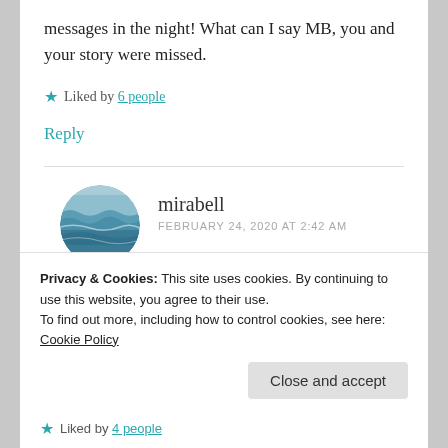messages in the night! What can I say MB, you and your story were missed.
★ Liked by 6 people
Reply
mirabell
FEBRUARY 24, 2020 AT 2:42 AM
Privacy & Cookies: This site uses cookies. By continuing to use this website, you agree to their use.
To find out more, including how to control cookies, see here: Cookie Policy
Close and accept
★ Liked by 4 people